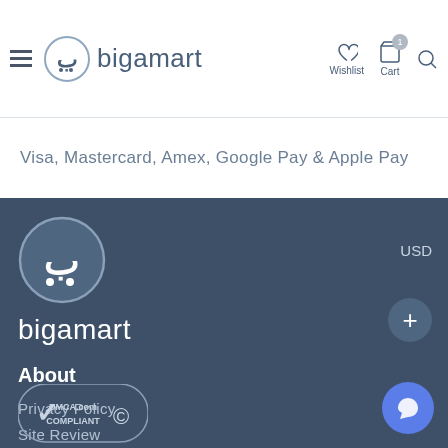[Figure (logo): bigamart logo with shopping cart icon in circle and brand name text]
Visa, Mastercard, Amex, Google Pay & Apple Pay
[Figure (logo): bigamart footer logo - large circle with shopping cart icon and brand name below]
USD
About
Privacy Policy
Site Review
[Figure (logo): DMCA.com COMPLIANT badge with checkmark]